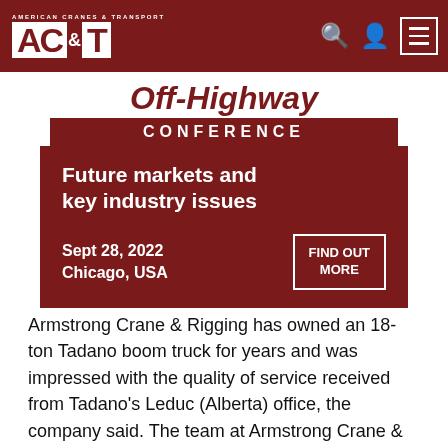American Cranes & Transport — ACT
[Figure (infographic): Off-Highway Conference advertisement banner. White top area with red 'Off-Highway' title text and dark red 'CONFERENCE' bar. Lower dark red section with text 'Future markets and key industry issues', date 'Sept 28, 2022', location 'Chicago, USA', and 'FIND OUT MORE' button.]
Armstrong Crane & Rigging has owned an 18-ton Tadano boom truck for years and was impressed with the quality of service received from Tadano's Leduc (Alberta) office, the company said. The team at Armstrong Crane & Rigging was impressed by how easy the 220-ton machine is to operate, its drivability